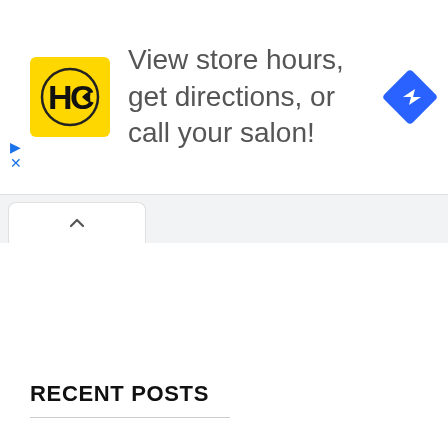[Figure (screenshot): Advertisement banner for Haircuttery showing yellow HC logo, text 'View store hours, get directions, or call your salon!' and a blue diamond-shaped navigation icon on the right.]
[Figure (screenshot): Browser tab bar showing a single open tab with an up-arrow (chevron) icon.]
RECENT POSTS